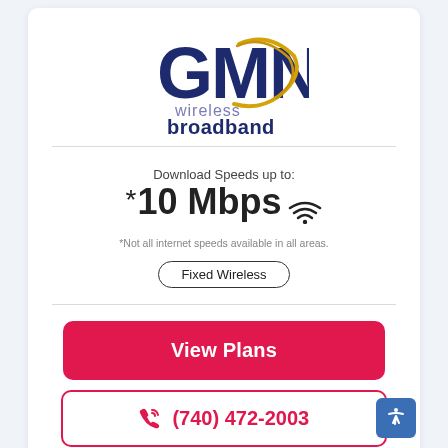[Figure (logo): GMN Wireless Broadband logo with gold swoosh and dark blue GMN lettering, purple 'wireless broadband' text below]
Download Speeds up to:
*10 Mbps
*Not all internet speeds available in all areas.
Fixed Wireless
View Plans
(740) 472-2003